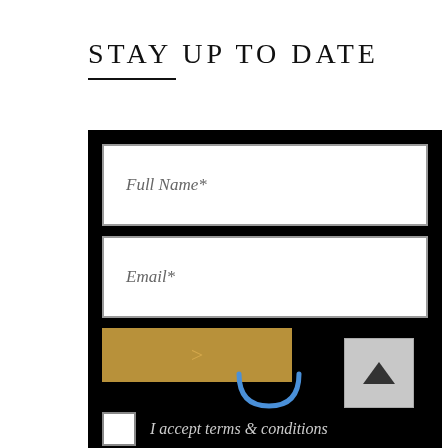STAY UP TO DATE
[Figure (screenshot): Web form on black background with Full Name* input field, Email* input field, a gold submit button with '>' arrow, a blue smiley/U-shape icon, a scroll-to-top button (gray with up arrow), and a checkbox with 'I accept terms & conditions' label]
I accept terms & conditions